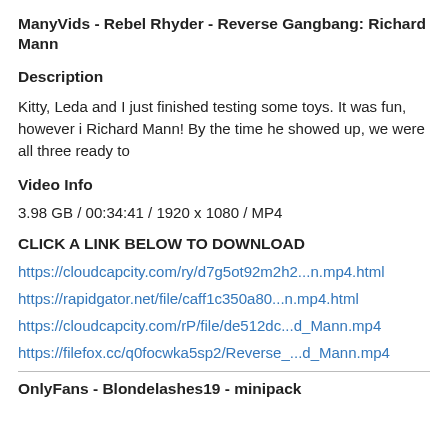ManyVids - Rebel Rhyder - Reverse Gangbang: Richard Mann
Description
Kitty, Leda and I just finished testing some toys. It was fun, however i Richard Mann! By the time he showed up, we were all three ready to
Video Info
3.98 GB / 00:34:41 / 1920 x 1080 / MP4
CLICK A LINK BELOW TO DOWNLOAD
https://cloudcapcity.com/ry/d7g5ot92m2h2...n.mp4.html
https://rapidgator.net/file/caff1c350a80...n.mp4.html
https://cloudcapcity.com/rP/file/de512dc...d_Mann.mp4
https://filefox.cc/q0focwka5sp2/Reverse_...d_Mann.mp4
OnlyFans - Blondelashes19 - minipack